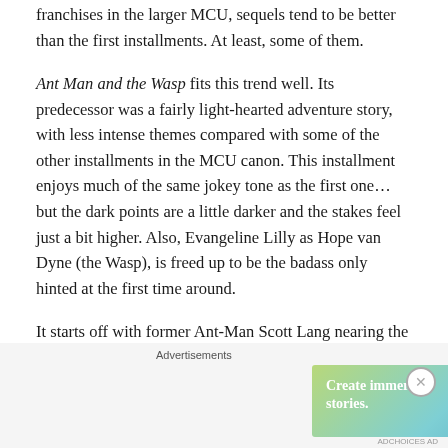franchises in the larger MCU, sequels tend to be better than the first installments. At least, some of them.
Ant Man and the Wasp fits this trend well. Its predecessor was a fairly light-hearted adventure story, with less intense themes compared with some of the other installments in the MCU canon. This installment enjoys much of the same jokey tone as the first one… but the dark points are a little darker and the stakes feel just a bit higher. Also, Evangeline Lilly as Hope van Dyne (the Wasp), is freed up to be the badass only hinted at the first time around.
It starts off with former Ant-Man Scott Lang nearing the end of his house arrest – a punishment induced by his role in assisting Captain America two years earlier during the
[Figure (other): Advertisement banner: 'Create immersive stories. GET THE APP' with WordPress logo, on a gradient green-to-blue background. Close button (X) top right.]